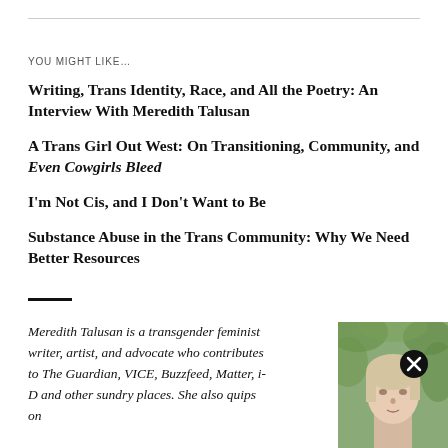YOU MIGHT LIKE…
Writing, Trans Identity, Race, and All the Poetry: An Interview With Meredith Talusan
A Trans Girl Out West: On Transitioning, Community, and Even Cowgirls Bleed
I'm Not Cis, and I Don't Want to Be
Substance Abuse in the Trans Community: Why We Need Better Resources
Meredith Talusan is a transgender feminist writer, artist, and advocate who contributes to The Guardian, VICE, Buzzfeed, Matter, i-D and other sundry places. She also quips on
[Figure (photo): Headshot photo of Meredith Talusan, a person with light hair against a green background, with a close/X button overlay]